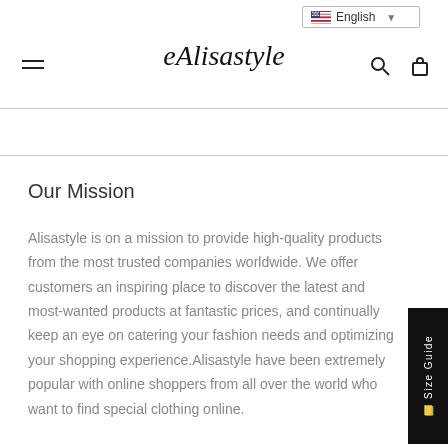eAlisastyle — English language selector, hamburger menu, search icon, cart icon
Our Mission
Alisastyle is on a mission to provide high-quality products from the most trusted companies worldwide. We offer customers an inspiring place to discover the latest and most-wanted products at fantastic prices, and continually keep an eye on catering your fashion needs and optimizing your shopping experience.Alisastyle have been extremely popular with online shoppers from all over the world who want to find special clothing online.